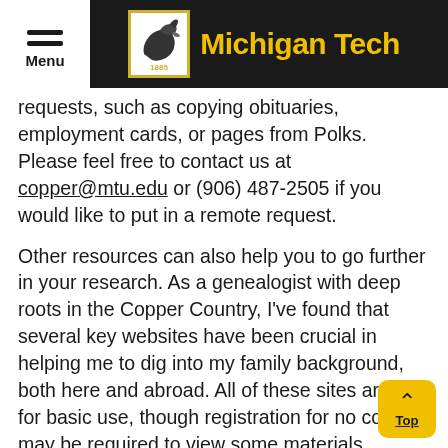Michigan Tech
requests, such as copying obituaries, employment cards, or pages from Polks. Please feel free to contact us at copper@mtu.edu or (906) 487-2505 if you would like to put in a remote request.
Other resources can also help you to go further in your research. As a genealogist with deep roots in the Copper Country, I've found that several key websites have been crucial in helping me to dig into my family background, both here and abroad. All of these sites are free for basic use, though registration for no cost may be required to view some materials.
FamilySearch (www.familysearch.org/search): FamilySearch is a product of the Church of Jesus